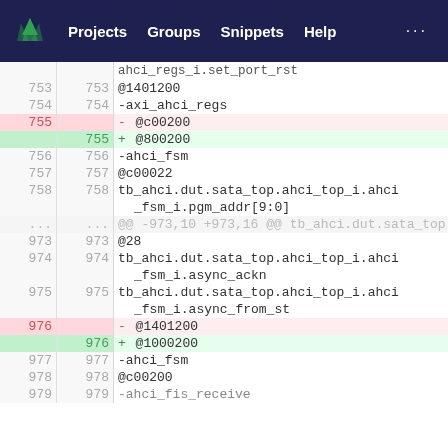Projects  Groups  Snippets  Help  ...
[Figure (screenshot): GitLab diff view showing code changes with line numbers, deleted lines in red and added lines in green, for ahci FSM configuration values]